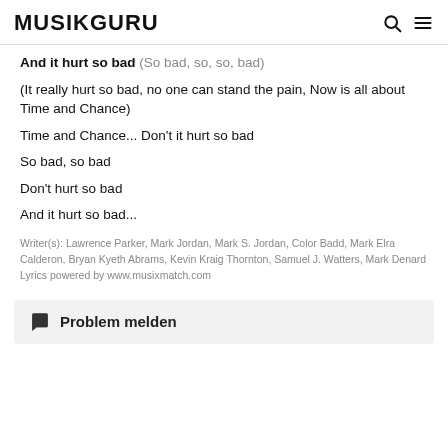MUSIKGURU
And it hurt so bad (So bad, so, so, bad)
(It really hurt so bad, no one can stand the pain, Now is all about Time and Chance)
Time and Chance... Don't it hurt so bad
So bad, so bad
Don't hurt so bad
And it hurt so bad...
Writer(s): Lawrence Parker, Mark Jordan, Mark S. Jordan, Color Badd, Mark Elra Calderon, Bryan Kyeth Abrams, Kevin Kraig Thornton, Samuel J. Watters, Mark Denard
Lyrics powered by www.musixmatch.com
Problem melden